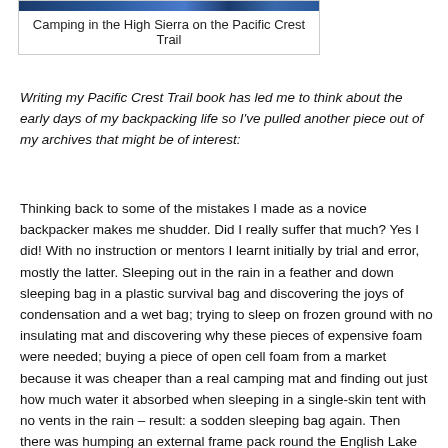[Figure (photo): Photo of camping in the High Sierra on the Pacific Crest Trail with a decorative header image bar]
Camping in the High Sierra on the Pacific Crest Trail
Writing my Pacific Crest Trail book has led me to think about the early days of my backpacking life so I've pulled another piece out of my archives that might be of interest:
Thinking back to some of the mistakes I made as a novice backpacker makes me shudder. Did I really suffer that much? Yes I did! With no instruction or mentors I learnt initially by trial and error, mostly the latter. Sleeping out in the rain in a feather and down sleeping bag in a plastic survival bag and discovering the joys of condensation and a wet bag; trying to sleep on frozen ground with no insulating mat and discovering why these pieces of expensive foam were needed; buying a piece of open cell foam from a market because it was cheaper than a real camping mat and finding out just how much water it absorbed when sleeping in a single-skin tent with no vents in the rain – result: a sodden sleeping bag again. Then there was humping an external frame pack round the English Lake District with no hipbelt (these were "optional extras" in Britain in the early 1970s). A shocked American hiker had me try on his pack with hipbelt – I've been in loved with hipbelts ever since! I